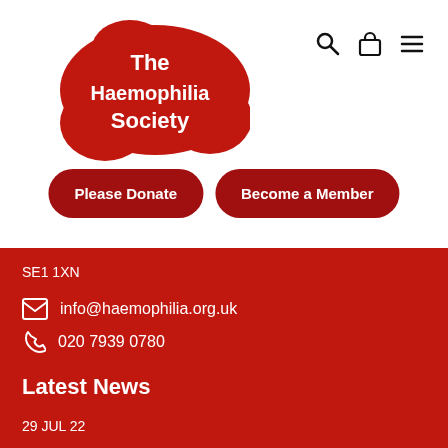[Figure (logo): The Haemophilia Society logo — red blob shape with white bold text reading 'The Haemophilia Society']
Please Donate
Become a Member
SE1 1XN
info@haemophilia.org.uk
020 7939 0780
Latest News
29 JUL 22